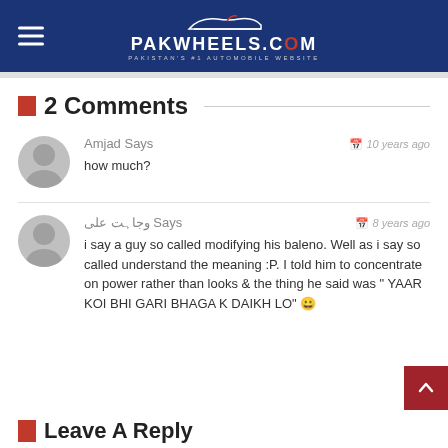PAKWHEELS.COM — PAKISTAN'S #1 AUTOMOBILE WEBSITE
2 Comments
Amjad Says — 10 years ago
how much?
وجاہت علی Says — 8 years ago
i say a guy so called modifying his baleno. Well as i say so called understand the meaning :P. I told him to concentrate on power rather than looks & the thing he said was " YAAR KOI BHI GARI BHAGA K DAIKH LO" 😀
Leave A Reply